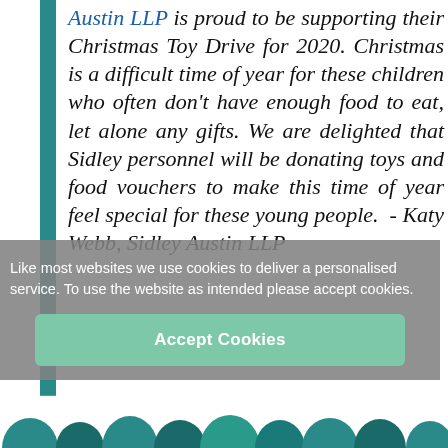Austin LLP is proud to be supporting their Christmas Toy Drive for 2020. Christmas is a difficult time of year for these children who often don't have enough food to eat, let alone any gifts. We are delighted that Sidley personnel will be donating toys and food vouchers to make this time of year feel special for these young people. - Katy Webb, Sidley Austin LLP
Like most websites we use cookies to deliver a personalised service. To use the website as intended please accept cookies.
Accept Cookies